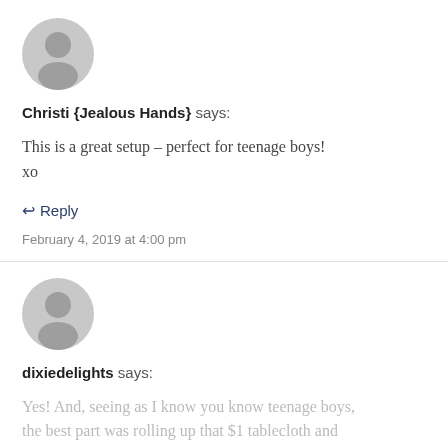[Figure (illustration): Grey circular avatar icon for user Christi Jealous Hands]
Christi {Jealous Hands} says:
This is a great setup – perfect for teenage boys!
xo
↩ Reply
February 4, 2019 at 4:00 pm
[Figure (illustration): Grey circular avatar icon for user dixiedelights]
dixiedelights says:
Yes! And, seeing as I know you know teenage boys, the best part was rolling up that $1 tablecloth and